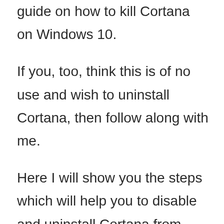guide on how to kill Cortana on Windows 10.
If you, too, think this is of no use and wish to uninstall Cortana, then follow along with me.
Here I will show you the steps which will help you to disable and uninstall Cortana from your devices.
Now before you start searching for the